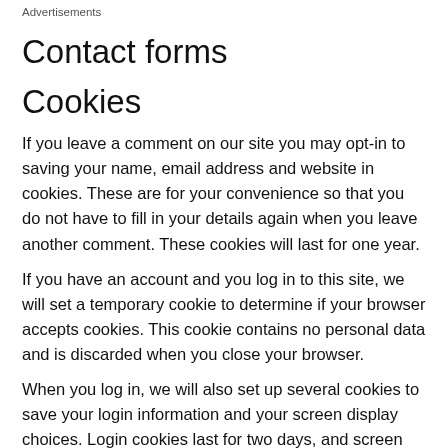Advertisements
Contact forms
Cookies
If you leave a comment on our site you may opt-in to saving your name, email address and website in cookies. These are for your convenience so that you do not have to fill in your details again when you leave another comment. These cookies will last for one year.
If you have an account and you log in to this site, we will set a temporary cookie to determine if your browser accepts cookies. This cookie contains no personal data and is discarded when you close your browser.
When you log in, we will also set up several cookies to save your login information and your screen display choices. Login cookies last for two days, and screen options cookies last for a year. If you select "Remember